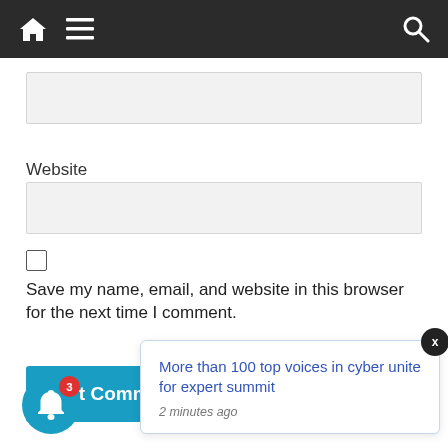[Figure (screenshot): Dark navigation bar with home icon, hamburger menu icon on the left and search icon on the right]
[Figure (screenshot): Grey input text field (top, partially visible)]
Website
[Figure (screenshot): Grey input text field for Website]
Save my name, email, and website in this browser for the next time I comment.
Post Comm
More than 100 top voices in cyber unite for expert summit
2 minutes ago
3
[Figure (screenshot): Blue circular bell notification button with red badge showing 3]